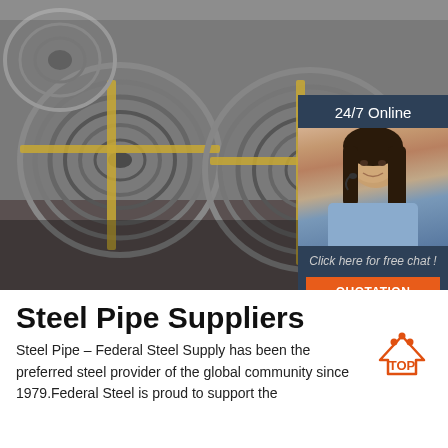[Figure (photo): Stacked coils of steel wire rod in a warehouse, with yellow strapping bands visible. In the upper-right overlay: a customer service chat widget showing '24/7 Online', a photo of a smiling woman with a headset, text 'Click here for free chat!', and an orange 'QUOTATION' button.]
Steel Pipe Suppliers
Steel Pipe – Federal Steel Supply has been the preferred steel provider of the global community since 1979.Federal Steel is proud to support the